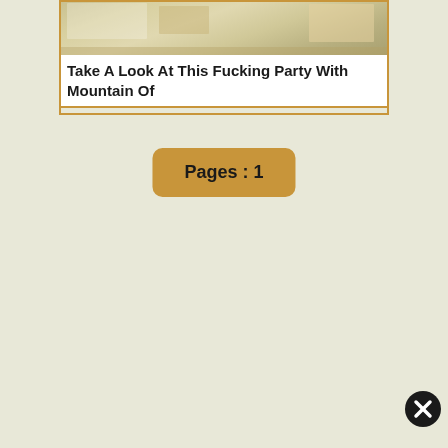[Figure (photo): Thumbnail image showing a party scene with items on a table, partially cropped at top]
Take A Look At This Fucking Party With Mountain Of
Pages : 1
[Figure (other): Close/dismiss button with X symbol, dark circle in bottom right area]